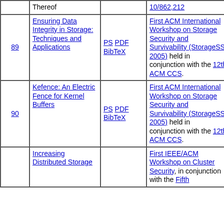| # | Title | Format | Venue | Date | Notes |
| --- | --- | --- | --- | --- | --- |
|  | Thereof |  | 10/862,212 |  | publi |
| 89 | Ensuring Data Integrity in Storage: Techniques and Applications | PS PDF BibTeX | First ACM International Workshop on Storage Security and Survivability (StorageSS 2005) held in conjunction with the 12th ACM CCS. | Nov 2005 |  |
| 90 | Kefence: An Electric Fence for Kernel Buffers | PS PDF BibTeX | First ACM International Workshop on Storage Security and Survivability (StorageSS 2005) held in conjunction with the 12th ACM CCS. | Nov 2005 | Won Sho Awa |
|  | Increasing Distributed Storage |  | First IEEE/ACM Workshop on Cluster Security, in conjunction with the Fifth |  |  |